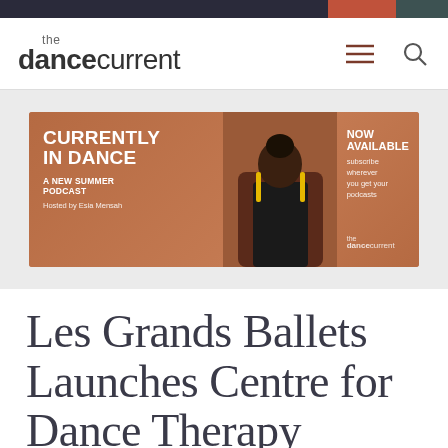the dance current
[Figure (infographic): Banner advertisement for 'Currently in Dance – A New Summer Podcast' hosted by Esia Mensah. NOW AVAILABLE – subscribe wherever you get your podcasts. The Dance Current logo shown. Features a woman in a leather chair with yellow earrings.]
Les Grands Ballets Launches Centre for Dance Therapy